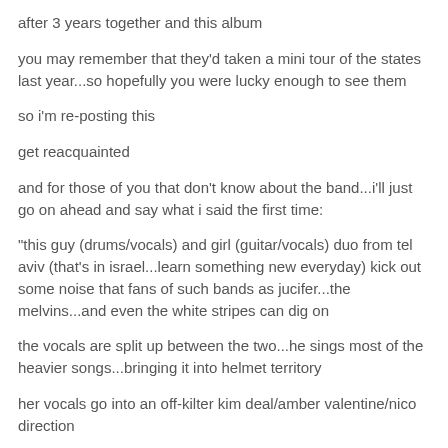after 3 years together and this album
you may remember that they'd taken a mini tour of the states last year...so hopefully you were lucky enough to see them
so i'm re-posting this
get reacquainted
and for those of you that don't know about the band...i'll just go on ahead and say what i said the first time:
"this guy (drums/vocals) and girl (guitar/vocals) duo from tel aviv (that's in israel...learn something new everyday) kick out some noise that fans of such bands as jucifer...the melvins...and even the white stripes can dig on
the vocals are split up between the two...he sings most of the heavier songs...bringing it into helmet territory
her vocals go into an off-kilter kim deal/amber valentine/nico direction